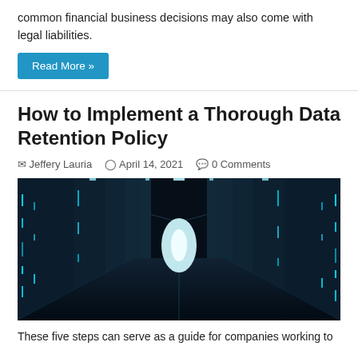common financial business decisions may also come with legal liabilities.
Read More »
How to Implement a Thorough Data Retention Policy
Jeffery Lauria   April 14, 2021   0 Comments
[Figure (photo): Dark data center corridor with rows of server racks illuminated by blue-green neon lights, with a bright light at the end of the aisle.]
These five steps can serve as a guide for companies working to